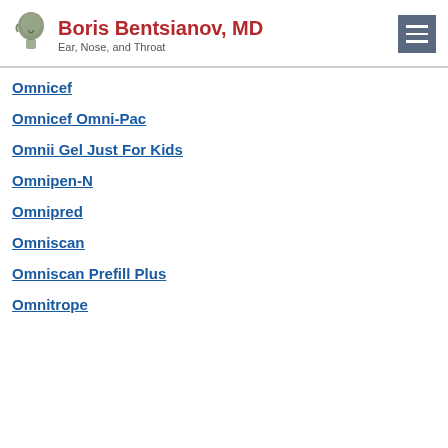Boris Bentsianov, MD — Ear, Nose, and Throat
Omnicef
Omnicef Omni-Pac
Omnii Gel Just For Kids
Omnipen-N
Omnipred
Omniscan
Omniscan Prefill Plus
Omnitrope